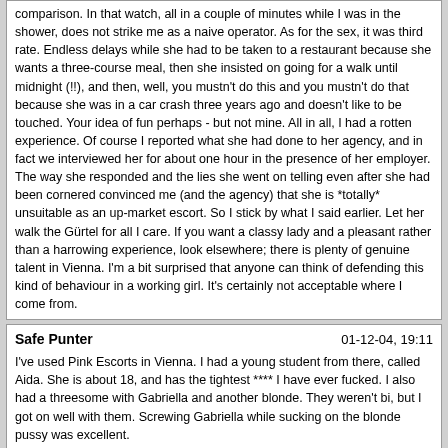comparison. In that watch, all in a couple of minutes while I was in the shower, does not strike me as a naive operator. As for the sex, it was third rate. Endless delays while she had to be taken to a restaurant because she wants a three-course meal, then she insisted on going for a walk until midnight (!!), and then, well, you mustn't do this and you mustn't do that because she was in a car crash three years ago and doesn't like to be touched. Your idea of fun perhaps - but not mine. All in all, I had a rotten experience. Of course I reported what she had done to her agency, and in fact we interviewed her for about one hour in the presence of her employer. The way she responded and the lies she went on telling even after she had been cornered convinced me (and the agency) that she is *totally* unsuitable as an up-market escort. So I stick by what I said earlier. Let her walk the Gürtel for all I care. If you want a classy lady and a pleasant rather than a harrowing experience, look elsewhere; there is plenty of genuine talent in Vienna. I'm a bit surprised that anyone can think of defending this kind of behaviour in a working girl. It's certainly not acceptable where I come from.
Safe Punter
I've used Pink Escorts in Vienna. I had a young student from there, called Aida. She is about 18, and has the tightest **** I have ever fucked. I also had a threesome with Gabriella and another blonde. They weren't bi, but I got on well with them. Screwing Gabriella while sucking on the blonde pussy was excellent.

I also tried a club down the main shopping street - Club 12 I think. It was downstairs, but drinks were expensive, and my collegue fucked one of the girls, but it cost about 200 Euros. I tried a another escort agency, Vienna Escorts I think, and had two excellent girls (on separate times). Another girl at lunchtime, who was not at all good - serves me right for ordering at lunctime.

The Intercontinental has one or two WGs in the bar area, but they were regulars and not that nice. Once or twice some really attractive girl will show up, but they are snapped up quite quickly.
Toscana